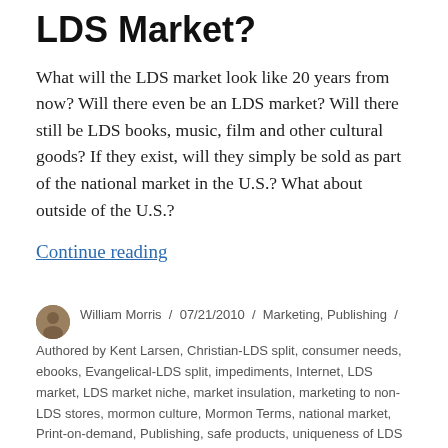LDS Market?
What will the LDS market look like 20 years from now? Will there even be an LDS market? Will there still be LDS books, music, film and other cultural goods? If they exist, will they simply be sold as part of the national market in the U.S.? What about outside of the U.S.?
Continue reading
William Morris / 07/21/2010 / Marketing, Publishing / Authored by Kent Larsen, Christian-LDS split, consumer needs, ebooks, Evangelical-LDS split, impediments, Internet, LDS market, LDS market niche, market insulation, marketing to non-LDS stores, mormon culture, Mormon Terms, national market, Print-on-demand, Publishing, safe products, uniqueness of LDS books / 12